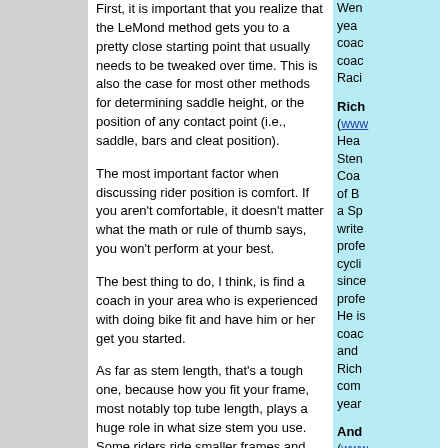First, it is important that you realize that the LeMond method gets you to a pretty close starting point that usually needs to be tweaked over time. This is also the case for most other methods for determining saddle height, or the position of any contact point (i.e., saddle, bars and cleat position).
The most important factor when discussing rider position is comfort. If you aren't comfortable, it doesn't matter what the math or rule of thumb says, you won't perform at your best.
The best thing to do, I think, is find a coach in your area who is experienced with doing bike fit and have him or her get you started.
As far as stem length, that's a tough one, because how you fit your frame, most notably top tube length, plays a huge role in what size stem you use. Some riders ride smaller frames and show more seatpost and use longer stems. In this case, the hub will often be seen behind the bar tops.
Wen years coac coac Raci
Rich (www Hea Sten Coa of B a Sp write profe cycli sinc profe He is coac and Rich com year
And (www an A spo Sten mem of B